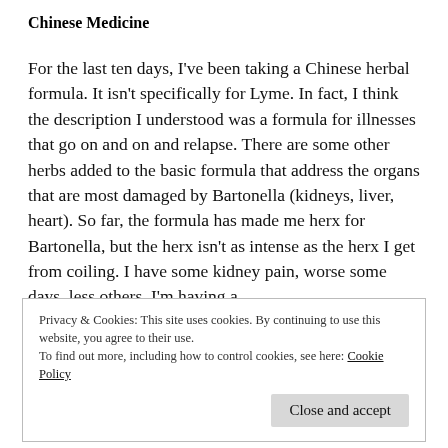Chinese Medicine
For the last ten days, I've been taking a Chinese herbal formula. It isn't specifically for Lyme. In fact, I think the description I understood was a formula for illnesses that go on and on and relapse. There are some other herbs added to the basic formula that address the organs that are most damaged by Bartonella (kidneys, liver, heart). So far, the formula has made me herx for Bartonella, but the herx isn't as intense as the herx I get from coiling. I have some kidney pain, worse some days, less others. I'm having a
Privacy & Cookies: This site uses cookies. By continuing to use this website, you agree to their use.
To find out more, including how to control cookies, see here: Cookie Policy
I've also gone to an acupuncture clinic to try to get